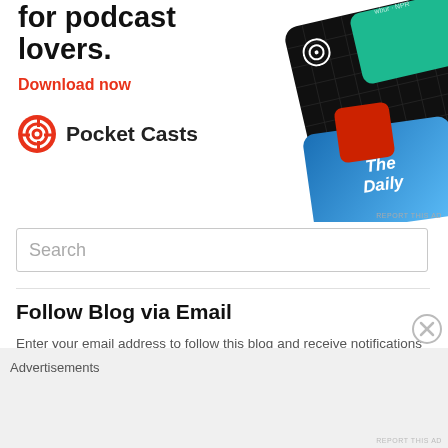[Figure (illustration): Pocket Casts advertisement showing podcast app cards (99% Invisible, The Daily, WBUR) with headline 'for podcast lovers.' and 'Download now' link, plus Pocket Casts logo]
Search
Follow Blog via Email
Enter your email address to follow this blog and receive notifications of
Advertisements